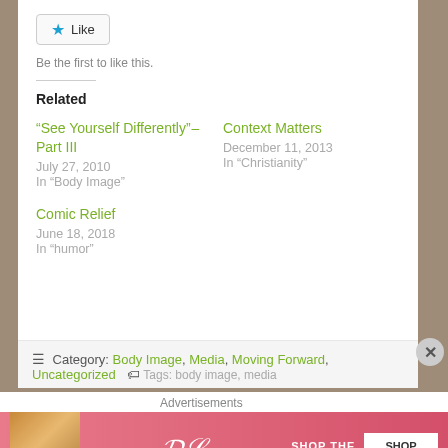[Figure (other): Like button with blue star icon and text 'Like']
Be the first to like this.
Related
"See Yourself Differently" – Part III
July 27, 2010
In "Body Image"
Context Matters
December 11, 2013
In "Christianity"
Comic Relief
June 18, 2018
In "humor"
Category: Body Image, Media, Moving Forward, Uncategorized   Tags: body image, media
Advertisements
[Figure (photo): Victoria's Secret advertisement banner with model, VS logo, 'SHOP THE COLLECTION' text, and 'SHOP NOW' button]